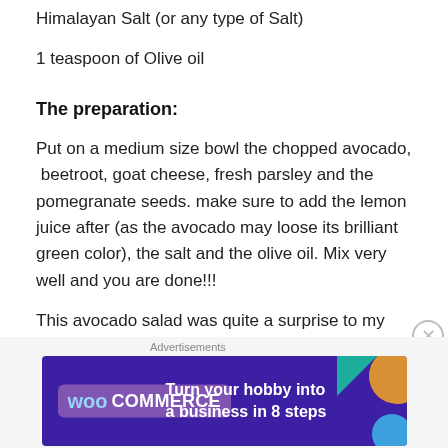Himalayan Salt (or any type of Salt)
1 teaspoon of Olive oil
The preparation:
Put on a medium size bowl the chopped avocado, beetroot, goat cheese, fresh parsley and the pomegranate seeds. make sure to add the lemon juice after (as the avocado may loose its brilliant green color), the salt and the olive oil. Mix very well and you are done!!!
This avocado salad was quite a surprise to my taste buds because I didn’t expect avocado to go that well with the
[Figure (other): WooCommerce advertisement banner: Turn your hobby into a business in 8 steps]